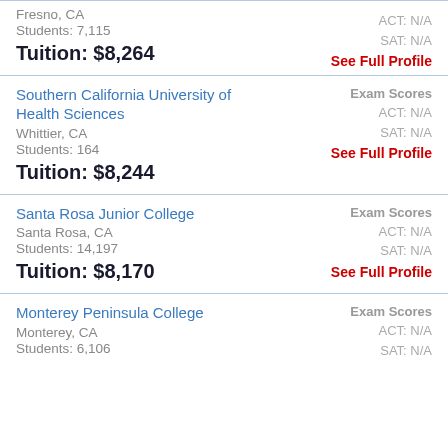Fresno, CA
Students: 7,115
Tuition: $8,264
ACT: N/A
SAT: N/A
See Full Profile
Southern California University of Health Sciences
Whittier, CA
Students: 164
Tuition: $8,244
Exam Scores
ACT: N/A
SAT: N/A
See Full Profile
Santa Rosa Junior College
Santa Rosa, CA
Students: 14,197
Tuition: $8,170
Exam Scores
ACT: N/A
SAT: N/A
See Full Profile
Monterey Peninsula College
Monterey, CA
Students: 6,106
Exam Scores
ACT: N/A
SAT: N/A